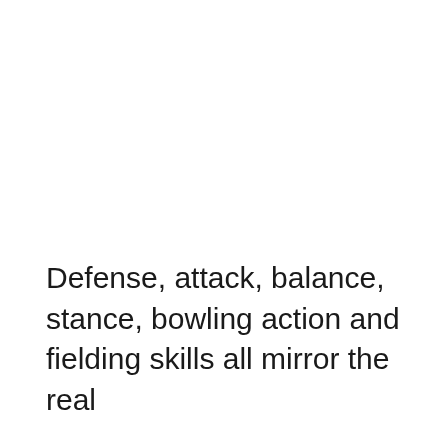Defense, attack, balance, stance, bowling action and fielding skills all mirror the real